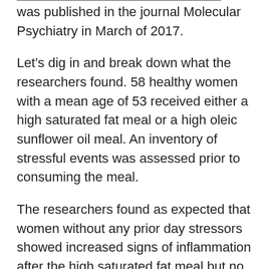was published in the journal Molecular Psychiatry in March of 2017.
Let's dig in and break down what the researchers found. 58 healthy women with a mean age of 53 received either a high saturated fat meal or a high oleic sunflower oil meal. An inventory of stressful events was assessed prior to consuming the meal.
The researchers found as expected that women without any prior day stressors showed increased signs of inflammation after the high saturated fat meal but no increase in inflammation after the sunflower oil meal.